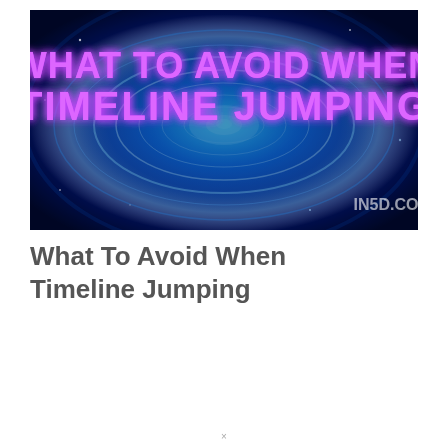[Figure (illustration): A thumbnail image with a swirling blue cosmic/portal background with glowing blue rings and light effects. Bold purple/magenta text reads 'WHAT TO AVOID WHEN TIMELINE JUMPING'. A watermark 'IN5D.CO' appears in the lower right corner.]
What To Avoid When Timeline Jumping